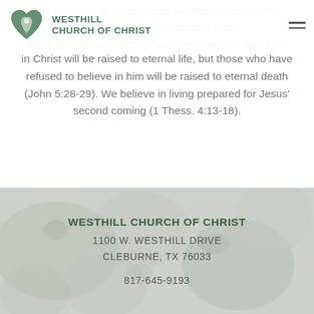WESTHILL CHURCH OF CHRIST
in Christ will be raised to eternal life, but those who have refused to believe in him will be raised to eternal death (John 5:28-29). We believe in living prepared for Jesus' second coming (1 Thess. 4:13-18).
WESTHILL CHURCH OF CHRIST
1100 W. WESTHILL DRIVE
CLEBURNE, TX 76033
817-645-9193